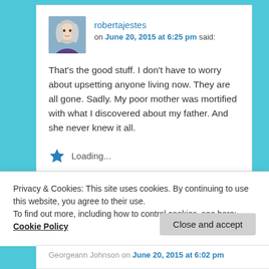robertajestes on June 20, 2015 at 6:25 pm said:
That's the good stuff. I don't have to worry about upsetting anyone living now. They are all gone. Sadly. My poor mother was mortified with what I discovered about my father. And she never knew it all.
Loading...
Reply ↓
Privacy & Cookies: This site uses cookies. By continuing to use this website, you agree to their use.
To find out more, including how to control cookies, see here: Cookie Policy
Close and accept
Georgeann Johnson on June 20, 2015 at 6:02 pm